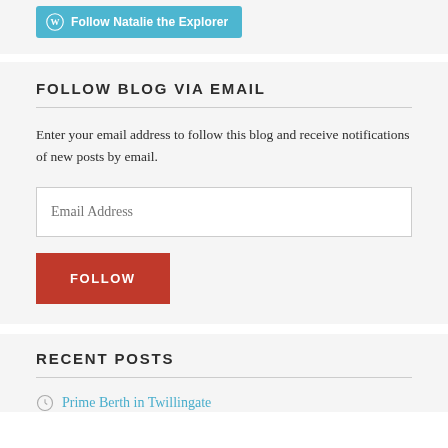[Figure (logo): WordPress Follow button with W logo and text 'Follow Natalie the Explorer' on teal/cyan background]
FOLLOW BLOG VIA EMAIL
Enter your email address to follow this blog and receive notifications of new posts by email.
Email Address (input field placeholder)
FOLLOW (button)
RECENT POSTS
Prime Berth in Twillingate